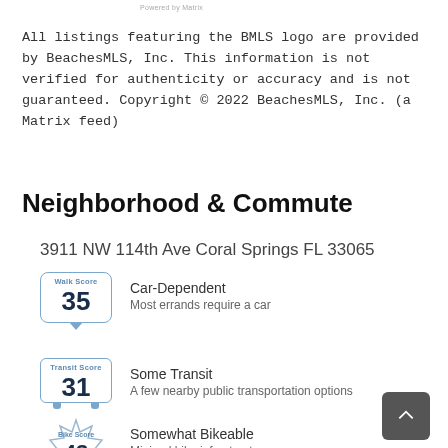Powered by Matrix
All listings featuring the BMLS logo are provided by BeachesMLS, Inc. This information is not verified for authenticity or accuracy and is not guaranteed. Copyright © 2022 BeachesMLS, Inc. (a Matrix feed)
Neighborhood & Commute
3911 NW 114th Ave Coral Springs FL 33065
[Figure (infographic): Walk Score badge showing score of 35]
Car-Dependent
Most errands require a car
[Figure (infographic): Transit Score badge showing score of 31]
Some Transit
A few nearby public transportation options
[Figure (infographic): Bike Score badge showing score of 43]
Somewhat Bikeable
Minimal bike infrastructure